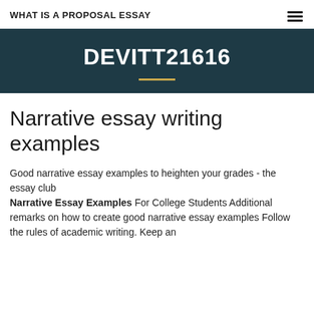WHAT IS A PROPOSAL ESSAY
DEVITT21616
Narrative essay writing examples
Good narrative essay examples to heighten your grades - the essay club
Narrative Essay Examples For College Students Additional remarks on how to create good narrative essay examples Follow the rules of academic writing. Keep an